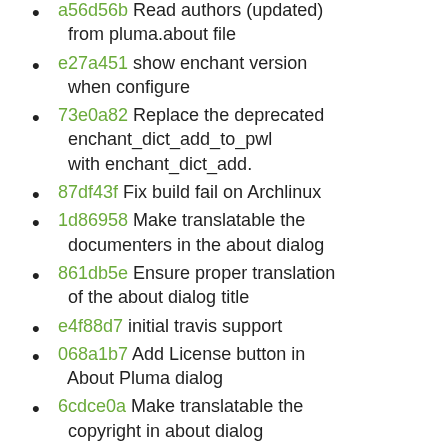a56d56b Read authors (updated) from pluma.about file
e27a451 show enchant version when configure
73e0a82 Replace the deprecated enchant_dict_add_to_pwl with enchant_dict_add.
87df43f Fix build fail on Archlinux
1d86958 Make translatable the documenters in the about dialog
861db5e Ensure proper translation of the about dialog title
e4f88d7 initial travis support
068a1b7 Add License button in About Pluma dialog
6cdce0a Make translatable the copyright in about dialog
7c519e1 Update Documenters
8e08ede remove type & url attr of ulink in translation
f64c037 remove deprecated help section: Opening a File from a URI